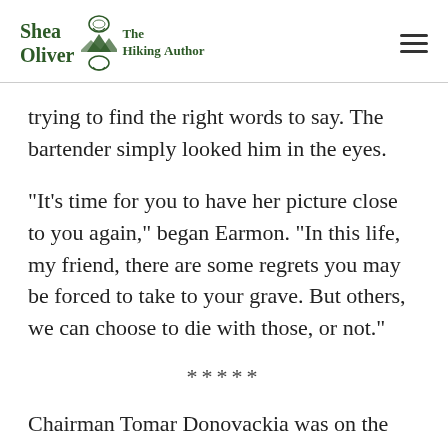Shea Oliver The Hiking Author
trying to find the right words to say. The bartender simply looked him in the eyes.
“It’s time for you to have her picture close to you again,” began Earmon. “In this life, my friend, there are some regrets you may be forced to take to your grave. But others, we can choose to die with those, or not.”
*****
Chairman Tomar Donovackia was on the